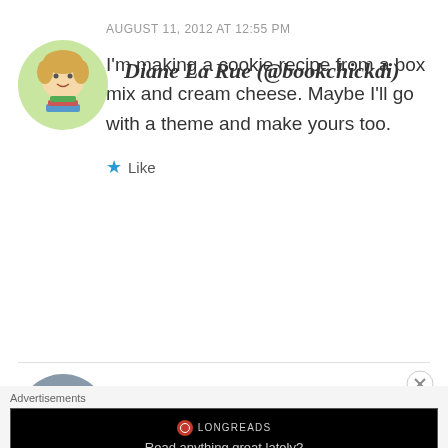[Figure (illustration): Circular avatar of an illustrated cartoon character with blonde hair holding books, on a green background]
Diane La Rue (@bookchickdi)
AUGUST 11, 2012 AT 12:55 PM
I'm making a cookie recipe from a box mix and cream cheese. Maybe I'll go with a theme and make yours too.
Like
[Figure (photo): Circular avatar photo of a person with a cross visible in the background]
BermudaOnion
Advertisements
[Figure (screenshot): Longreads advertisement banner with black background reading 'Read anything great lately?']